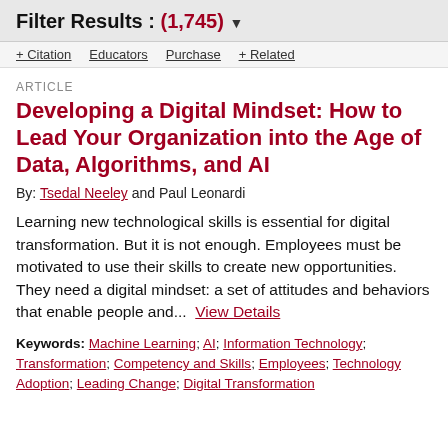Filter Results : (1,745) ▼
+ Citation   Educators   Purchase   + Related
ARTICLE
Developing a Digital Mindset: How to Lead Your Organization into the Age of Data, Algorithms, and AI
By: Tsedal Neeley and Paul Leonardi
Learning new technological skills is essential for digital transformation. But it is not enough. Employees must be motivated to use their skills to create new opportunities. They need a digital mindset: a set of attitudes and behaviors that enable people and... View Details
Keywords: Machine Learning; AI; Information Technology; Transformation; Competency and Skills; Employees; Technology Adoption; Leading Change; Digital Transformation